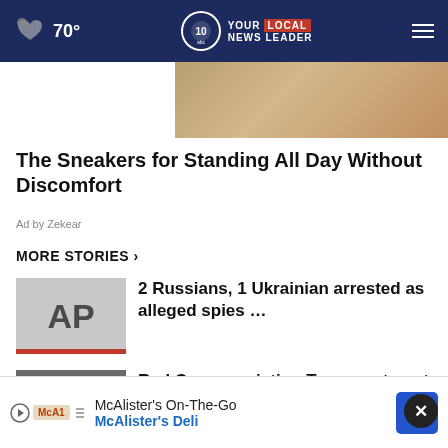70° NEWS 10 YOUR LOCAL NEWS LEADER
[Figure (photo): Partial image of sneakers ad at top]
The Sneakers for Standing All Day Without Discomfort
Ad by Zekear
MORE STORIES ›
2 Russians, 1 Ukrainian arrested as alleged spies …
Red Cross assisting Troy apartment fire victims
Dorli Rainey, symbol of Occupy movement, dies at …
Shaker Village
McAlister's On-The-Go
McAlister's Deli